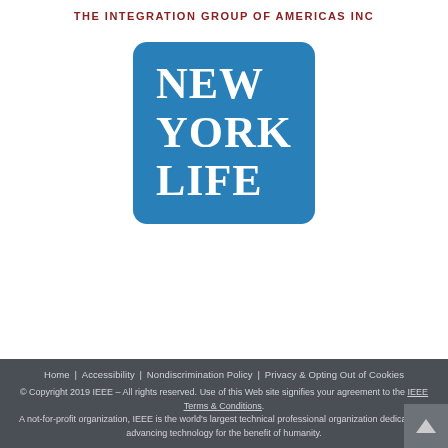THE INTEGRATION GROUP OF AMERICAS INC
[Figure (logo): New York Life logo — blue rounded square with white serif text reading NEW YORK LIFE stacked in three lines]
Home | Accessibility | Nondiscrimination Policy | Privacy & Opting Out of Cookies
© Copyright 2019 IEEE – All rights reserved. Use of this Web site signifies your agreement to the IEEE Terms & Conditions.
A not-for-profit organization, IEEE is the world's largest technical professional organization dedicated to advancing technology for the benefit of humanity.